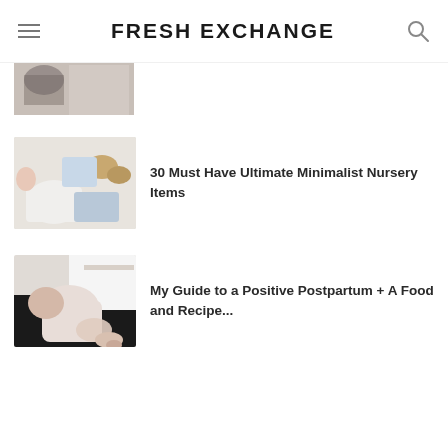FRESH EXCHANGE
[Figure (photo): Partial view of baby clothing items laid out, cropped at top of page]
[Figure (photo): Baby in white onesie with blue clothing and brown booties laid out flat]
30 Must Have Ultimate Minimalist Nursery Items
[Figure (photo): Person holding a newborn baby on their lap, postpartum scene]
My Guide to a Positive Postpartum + A Food and Recipe...